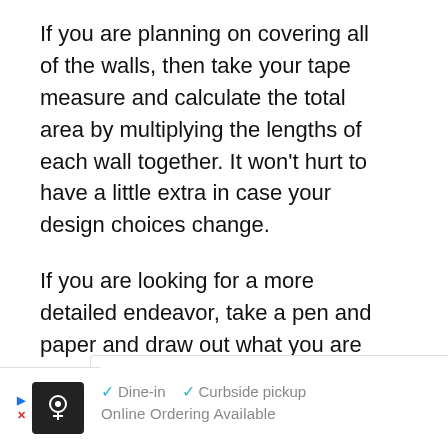If you are planning on covering all of the walls, then take your tape measure and calculate the total area by multiplying the lengths of each wall together. It won't hurt to have a little extra in case your design choices change.
If you are looking for a more detailed endeavor, take a pen and paper and draw out what you are planning. Go online and buy to those needs or bring your illustration to an arts and crafts store and ask them to assist.
[Figure (screenshot): UI overlay showing a teal heart/like button with count 8 and a share button]
[Figure (screenshot): What's Next promotional card with thumbnail image and text 'What Is A Moss Wall?...']
[Figure (screenshot): Advertisement banner at bottom: Dine-in, Curbside pickup, Online Ordering Available]